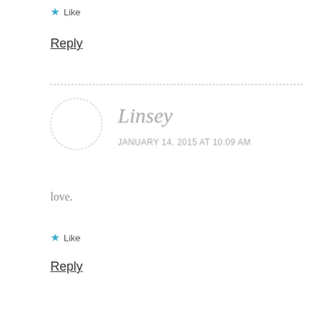★ Like
Reply
Linsey
JANUARY 14, 2015 AT 10:09 AM
love.
★ Like
Reply